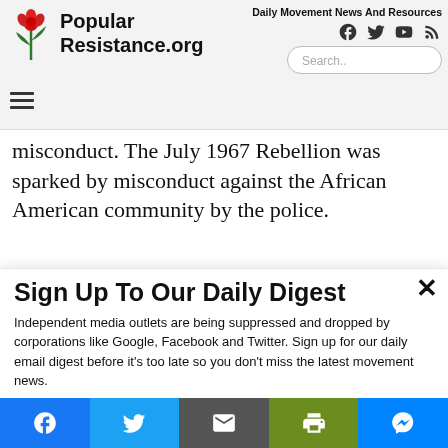PopularResistance.org — Daily Movement News And Resources
misconduct. The July 1967 Rebellion was sparked by misconduct against the African American community by the police.
Sign Up To Our Daily Digest
Independent media outlets are being suppressed and dropped by corporations like Google, Facebook and Twitter. Sign up for our daily email digest before it's too late so you don't miss the latest movement news.
Email